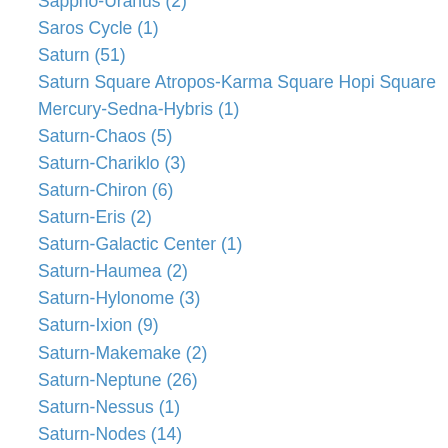Sappho-Uranus (2)
Saros Cycle (1)
Saturn (51)
Saturn Square Atropos-Karma Square Hopi Square Mercury-Sedna-Hybris (1)
Saturn-Chaos (5)
Saturn-Chariklo (3)
Saturn-Chiron (6)
Saturn-Eris (2)
Saturn-Galactic Center (1)
Saturn-Haumea (2)
Saturn-Hylonome (3)
Saturn-Ixion (9)
Saturn-Makemake (2)
Saturn-Neptune (26)
Saturn-Nessus (1)
Saturn-Nodes (14)
Saturn-OR10 (1)
Saturn-Orcus (1)
Saturn-Pholus (4)